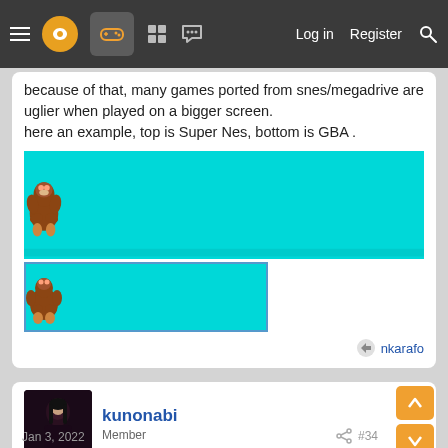Navigation bar with menu, logo, gamepad icon, grid, chat, Log in, Register, Search
because of that, many games ported from snes/megadrive are uglier when played on a bigger screen.
here an example, top is Super Nes, bottom is GBA .
[Figure (screenshot): Top image: SNES Donkey Kong sprite sheet on cyan background showing ~11 walking gorilla sprites in a wide horizontal strip]
[Figure (screenshot): Bottom image: GBA Donkey Kong sprite sheet on cyan background showing ~6 walking gorilla sprites, smaller and slightly blurrier, in a narrower strip with blue border]
nkarafo
kunonabi
Member
Jan 3, 2022
#34